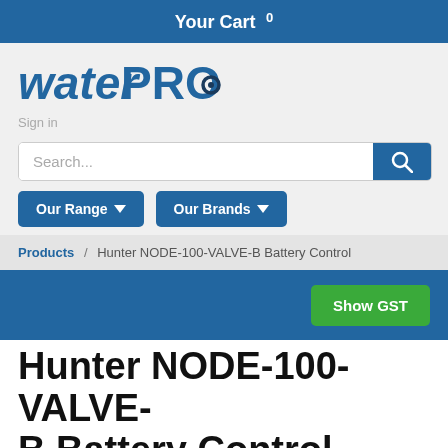Your Cart 0
[Figure (logo): waterPRO logo in blue with dark blue circle accent on the O]
Sign in
Search...
Our Range ▾
Our Brands ▾
Products / Hunter NODE-100-VALVE-B Battery Control
Show GST
Hunter NODE-100-VALVE-B Battery Control